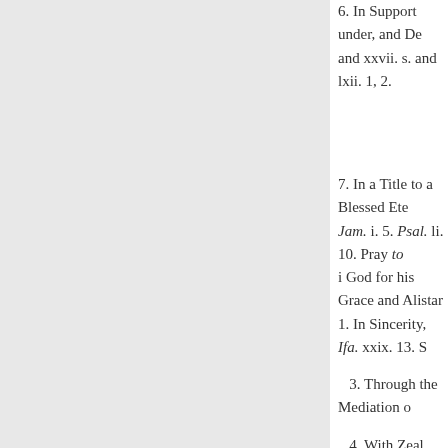6. In Support under, and De and xxvii. s. and lxii. 1, 2.
7. In a Title to a Blessed Ete Jam. i. 5. Psal. li. 10. Pray to i God for his Grace and Alistar 1. In Sincerity, Ifa. xxix. 13. S 3. Through the Mediation o 4. With Zeal and Devotion, S 5. With Constancy and Perse 4. To your Prayer, join serio Cor. ix. 27. 5. Make a right Us s affords you, 2 Cor. vi. 1. Gal 1, Believingly, Hebr. iv. 2. R 2. Attentively, S. Luk. viji. 1 3. Obediently, Ezek. xxxiii. 4. Diligently, S. Luk. xxi. 38